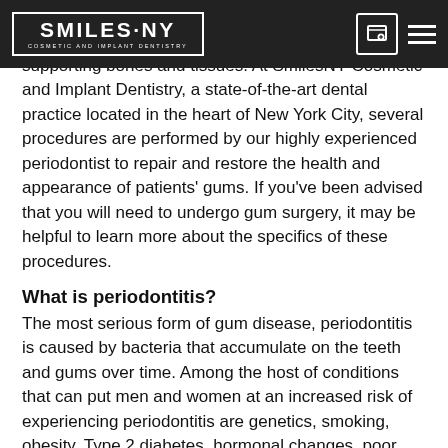SMILES·NY COSMETIC AND IMPLANT DENTISTRY
disease called periodontitis. This occurs when bacteria build up and impact the integrity of tooth supporting bones and tissues. At SmilesNY Cosmetic and Implant Dentistry, a state-of-the-art dental practice located in the heart of New York City, several procedures are performed by our highly experienced periodontist to repair and restore the health and appearance of patients' gums. If you've been advised that you will need to undergo gum surgery, it may be helpful to learn more about the specifics of these procedures.
What is periodontitis?
The most serious form of gum disease, periodontitis is caused by bacteria that accumulate on the teeth and gums over time. Among the host of conditions that can put men and women at an increased risk of experiencing periodontitis are genetics, smoking, obesity, Type 2 diabetes, hormonal changes, poor nutrition, and the use of certain medications.
Periodontitis begins as gingivitis, which causes inflammation and bleeding of the gums. During the earliest stages of gum disease, the gums may pull away (or recede) from the teeth resulting in the formation of small, bacteria-harboring pockets. Some bone loss also may occur. As the disease progresses